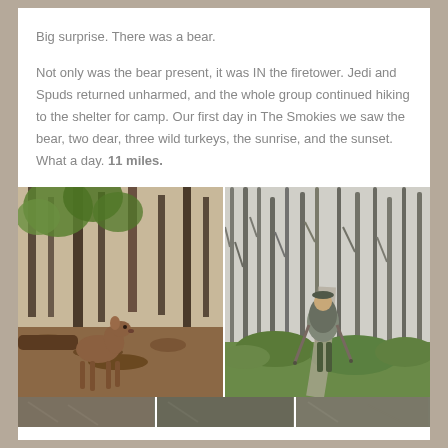Big surprise. There was a bear.
Not only was the bear present, it was IN the firetower. Jedi and Spuds returned unharmed, and the whole group continued hiking to the shelter for camp. Our first day in The Smokies we saw the bear, two dear, three wild turkeys, the sunrise, and the sunset. What a day. 11 miles.
[Figure (photo): Left: a deer standing among trees with autumn leaves and rocky ground. Right: a hiker with a large backpack walking on a forest trail lined with bare trees and green ground cover.]
[Figure (photo): Bottom strip showing partial view of additional trail/forest photos.]